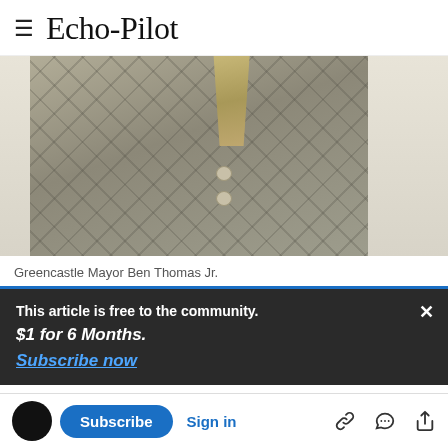≡ Echo-Pilot
[Figure (photo): Photo of Greencastle Mayor Ben Thomas Jr. wearing a quilted grey vest over a white shirt with a patterned tie]
Greencastle Mayor Ben Thomas Jr.
This article is free to the community.
$1 for 6 Months.
Subscribe now
received a Mayoral Citation proclaiming Sunday,
Day in Greencastle, Pennsylvania."